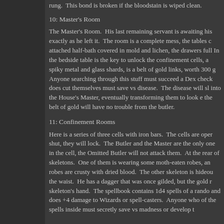rung.  This bond is broken if the bloodstain is wiped clean.
10: Master's Room
The Master's Room.  His last remaining servant is awaiting his exactly as he left it.  The room is a complete mess, the tables c attached half-bath covered in mold and lichen, the drawers full In the bedside table is the key to unlock the confinement cells, a spiky metal and glass shards, is a belt of gold links, worth 300 g Anyone searching through this stuff must succeed a Dex check does cut themselves must save vs disease.  The disease will sl into the House's Master, eventually transforming them to look e the belt of gold will have no trouble from the butler.
11: Confinement Rooms
Here is a series of three cells with iron bars.  The cells are oper shut, they will lock.  The Butler and the Master are the only one in the cell, the Omitted Butler will not attack them.  At the rear of skeletons.  One of them is wearing some moth-eaten robes, an robes are crusty with dried blood.  The other skeleton is hideou the waist.  He has a dagger that was once gilded, but the gold r skeleton's hand.  The spellbook contains 1d4 spells of a rando and does +4 damage to Wizards or spell-casters.  Anyone who of the spells inside must secretly save vs madness or develop t